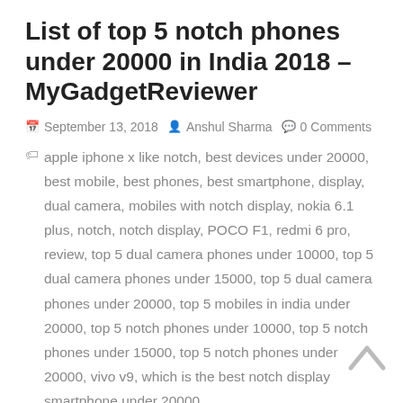List of top 5 notch phones under 20000 in India 2018 – MyGadgetReviewer
September 13, 2018   Anshul Sharma   0 Comments
apple iphone x like notch, best devices under 20000, best mobile, best phones, best smartphone, display, dual camera, mobiles with notch display, nokia 6.1 plus, notch, notch display, POCO F1, redmi 6 pro, review, top 5 dual camera phones under 10000, top 5 dual camera phones under 15000, top 5 dual camera phones under 20000, top 5 mobiles in india under 20000, top 5 notch phones under 10000, top 5 notch phones under 15000, top 5 notch phones under 20000, vivo v9, which is the best notch display smartphone under 20000
top 5 notch phones under 20000 : Notch Display has become new trend in India , All the Latest Flagship